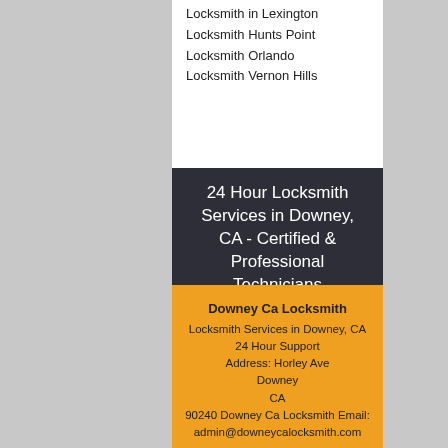Locksmith in Lexington
Locksmith Hunts Point
Locksmith Orlando
Locksmith Vernon Hills
24 Hour Locksmith Services in Downey, CA - Certified & Professional Technicians
Downey Ca Locksmith
Locksmith Services in Downey, CA
24 Hour Support
Address: Horley Ave
Downey
CA
90240 Downey Ca Locksmith Email:
admin@downeycalocksmith.com